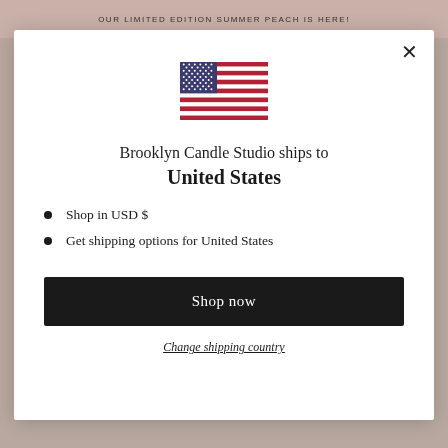OUR LIMITED EDITION SUMMER PEACH IS HERE!
[Figure (illustration): US flag SVG illustration centered at top of modal]
Brooklyn Candle Studio ships to
United States
Shop in USD $
Get shipping options for United States
Shop now
Change shipping country